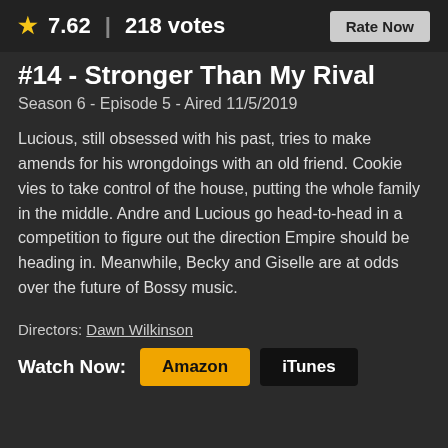★ 7.62 | 218 votes
Rate Now
#14 - Stronger Than My Rival
Season 6 - Episode 5 - Aired 11/5/2019
Lucious, still obsessed with his past, tries to make amends for his wrongdoings with an old friend. Cookie vies to take control of the house, putting the whole family in the middle. Andre and Lucious go head-to-head in a competition to figure out the direction Empire should be heading in. Meanwhile, Becky and Giselle are at odds over the future of Bossy music.
Directors: Dawn Wilkinson
Watch Now: Amazon iTunes